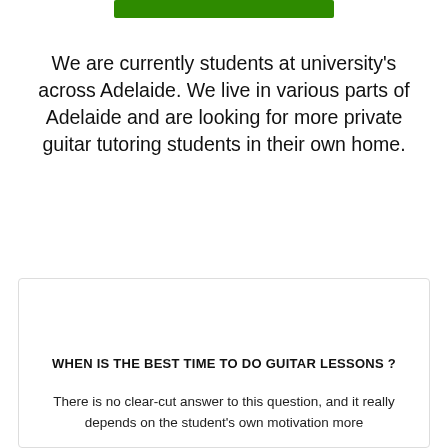[Figure (other): Green horizontal bar/button at the top center of the page]
We are currently students at university’s across Adelaide. We live in various parts of Adelaide and are looking for more private guitar tutoring students in their own home.
[Figure (illustration): Orange musical note icon]
WHEN IS THE BEST TIME TO DO GUITAR LESSONS ?
There is no clear-cut answer to this question, and it really depends on the student’s own motivation more